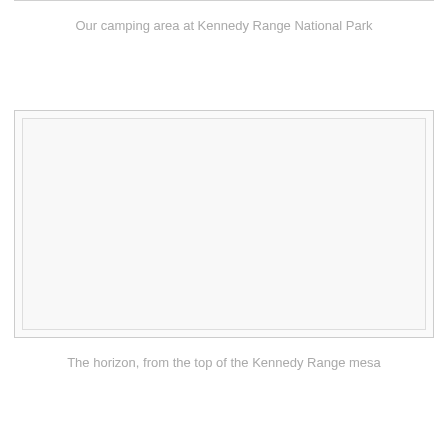Our camping area at Kennedy Range National Park
[Figure (photo): Blank/placeholder image with double-border frame representing a photo of the camping area at Kennedy Range National Park]
The horizon, from the top of the Kennedy Range mesa